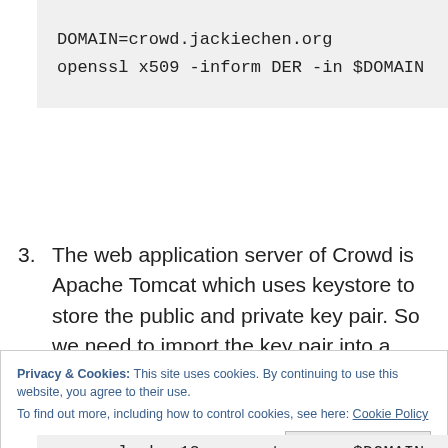[Figure (screenshot): Code block with light gray background showing two lines: 'DOMAIN=crowd.jackiechen.org' and 'openssl x509 -inform DER -in $DOMAIN']
3. The web application server of Crowd is Apache Tomcat which uses keystore to store the public and private key pair. So we need to import the key pair into a keystore.
Privacy & Cookies: This site uses cookies. By continuing to use this website, you agree to their use.
To find out more, including how to control cookies, see here: Cookie Policy
Close and accept
[Figure (screenshot): Code block showing partial line: 'openssl pkcs12 -export -name $DOMAIN']